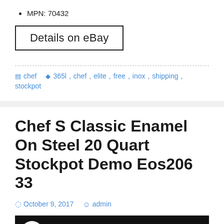MPN: 70432
[Figure (other): Button labeled 'Details on eBay' with a black border]
chef    365l, chef, elite, free, inox, shipping, stockpot
Chef S Classic Enamel On Steel 20 Quart Stockpot Demo Eos206 33
October 9, 2017   admin
[Figure (screenshot): Video thumbnail showing Cuisinart logo and text 'Chef's Classic™ Enamel ...' on black background]